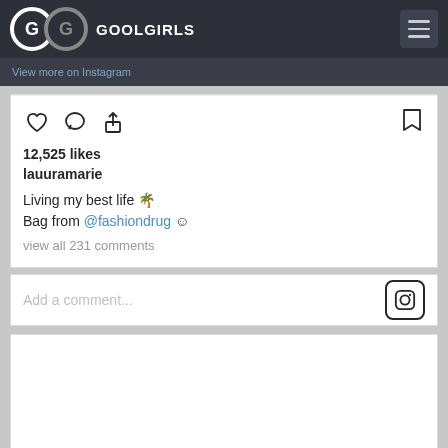GOOLGIRLS
View more on Instagram
12,525 likes
lauuramarie
Living my best life 🌴
Bag from @fashiondrug ☺
view all 231 comments
Add a comment...
[Figure (screenshot): Empty white card at bottom of page]